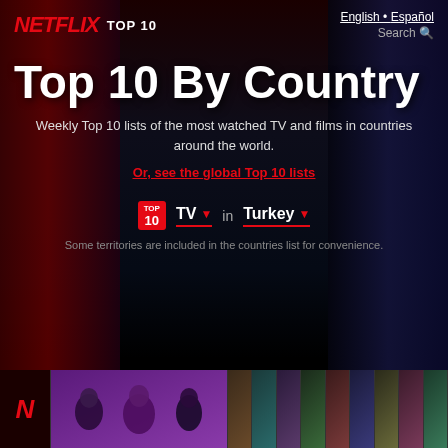NETFLIX TOP 10  |  English • Español  |  Search
Top 10 By Country
Weekly Top 10 lists of the most watched TV and films in countries around the world.
Or, see the global Top 10 lists
TOP 10  TV ▾  in  Turkey ▾
Some territories are included in the countries list for convenience.
[Figure (screenshot): Bottom strip showing Netflix logo (N) and thumbnail grid of TV show ranked 1 through 10, with numbers 1-10 visible across the top of the thumbnails. The first large thumbnail shows two men and a woman for a Turkish TV show.]